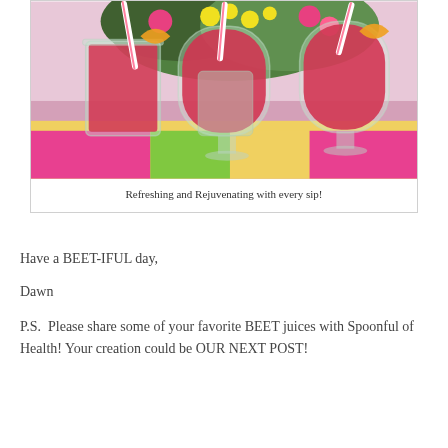[Figure (photo): Photo of red beet juice smoothies in glasses and a mason jar with pink striped straws and orange garnish, with colorful flowers in background on a floral tablecloth]
Refreshing and Rejuvenating with every sip!
Have a BEET-IFUL day,
Dawn
P.S.  Please share some of your favorite BEET juices with Spoonful of Health! Your creation could be OUR NEXT POST!